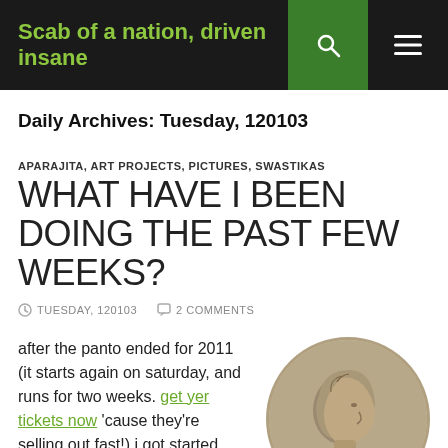Scab of a nation, driven insane
Daily Archives: Tuesday, 120103
APARAJITA, ART PROJECTS, PICTURES, SWASTIKAS
WHAT HAVE I BEEN DOING THE PAST FEW WEEKS?
TUESDAY, 120103   2 COMMENTS
after the panto ended for 2011 (it starts again on saturday, and runs for two weeks. get yer tickets now 'cause they're selling out fast!) i got started making some hobo
[Figure (photo): Close-up photograph of a coin showing a profile portrait, likely a US nickel, in circular crop]